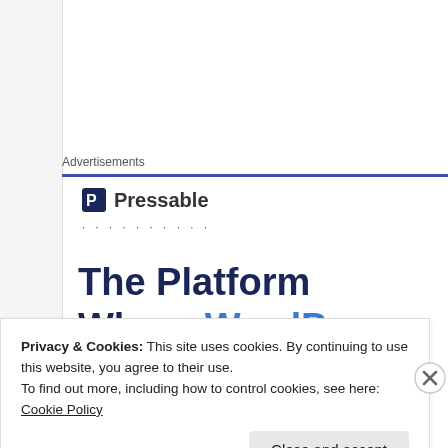Advertisements
[Figure (logo): Pressable logo with icon and wordmark]
· · · · · · · · · ·
The Platform Where WordPress Works Best
Privacy & Cookies: This site uses cookies. By continuing to use this website, you agree to their use.
To find out more, including how to control cookies, see here: Cookie Policy
Close and accept